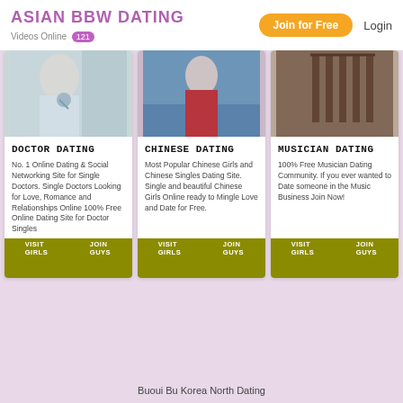ASIAN BBW DATING — Videos Online 121 — Join for Free — Login
DOCTOR DATING
No. 1 Online Dating & Social Networking Site for Single Doctors. Single Doctors Looking for Love, Romance and Relationships Online 100% Free Online Dating Site for Doctor Singles
CHINESE DATING
Most Popular Chinese Girls and Chinese Singles Dating Site. Single and beautiful Chinese Girls Online ready to Mingle Love and Date for Free.
MUSICIAN DATING
100% Free Musician Dating Community. If you ever wanted to Date someone in the Music Business Join Now!
Buoui Bu Korea North Dating